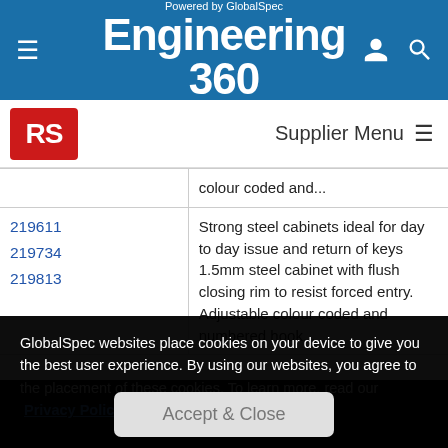Powered by GlobalSpec Engineering 360
[Figure (logo): RS Components supplier logo]
Supplier Menu
| Product IDs | Description |
| --- | --- |
|  | colour coded and... |
| 219611
219734
219813 | Strong steel cabinets ideal for day to day issue and return of keys 1.5mm steel cabinet with flush closing rim to resist forced entry. Adjustable colour coded and numbered hook... |
GlobalSpec websites place cookies on your device to give you the best user experience. By using our websites, you agree to the placement of these cookies. To learn more, read our Privacy Policy
Accept & Close